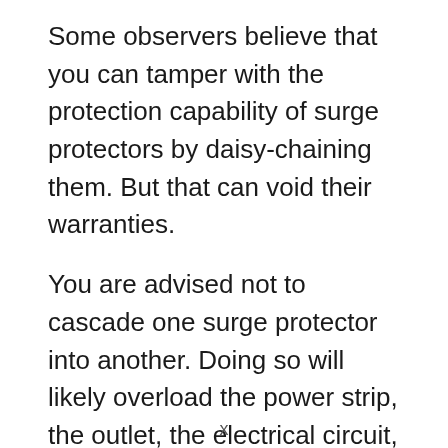Some observers believe that you can tamper with the protection capability of surge protectors by daisy-chaining them. But that can void their warranties.
You are advised not to cascade one surge protector into another. Doing so will likely overload the power strip, the outlet, the electrical circuit, or the extension cord. Overloading an electrical circuit opens the risk of an electrical fire.
Use a Power Strip with More Outlets If
x